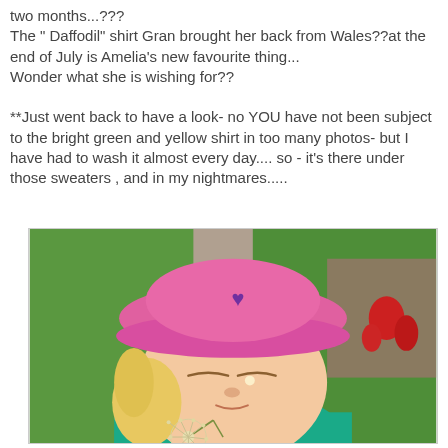two months...???
The " Daffodil" shirt Gran brought her back from Wales??at the end of July is Amelia's new favourite thing...
Wonder what she is wishing for??

**Just went back to have a look- no YOU have not been subject to the bright green and yellow shirt in too many photos- but I have had to wash it almost every day.... so - it's there under those sweaters , and in my nightmares.....
[Figure (photo): A young blonde girl wearing a pink bucket hat and a teal/green shirt, blowing on a dandelion flower while standing in a garden with green grass, a gravel path, and flowers in the background.]